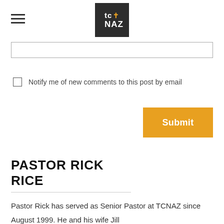tc NAZ (logo)
[Figure (screenshot): Text input field (partially visible, top portion cut off)]
Notify me of new comments to this post by email
[Figure (other): Submit button, orange background with white bold text 'Submit']
PASTOR RICK RICE
Pastor Rick has served as Senior Pastor at TCNAZ since August 1999. He and his wife Jill